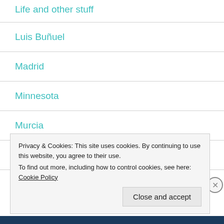Life and other stuff
Luis Buñuel
Madrid
Minnesota
Murcia
Navarra
Privacy & Cookies: This site uses cookies. By continuing to use this website, you agree to their use. To find out more, including how to control cookies, see here: Cookie Policy
Close and accept